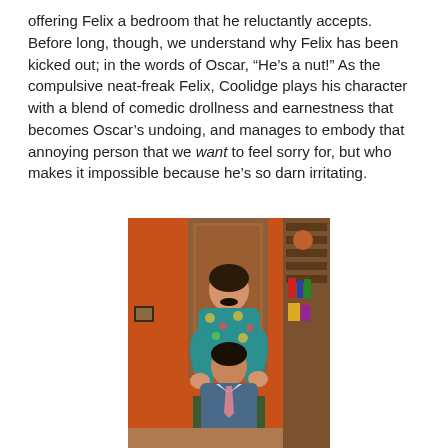offering Felix a bedroom that he reluctantly accepts. Before long, though, we understand why Felix has been kicked out; in the words of Oscar, “He’s a nut!” As the compulsive neat-freak Felix, Coolidge plays his character with a blend of comedic drollness and earnestness that becomes Oscar’s undoing, and manages to embody that annoying person that we want to feel sorry for, but who makes it impossible because he’s so darn irritating.
[Figure (photo): Two actors on a theatre stage set with orange/red walls and a wooden bookshelf. One man in a colorful floral Hawaiian shirt stands behind another man who sits in a chair wearing a blue shirt with a pink tie loosened around his neck. The standing actor has his hands on the seated actor's shoulders.]